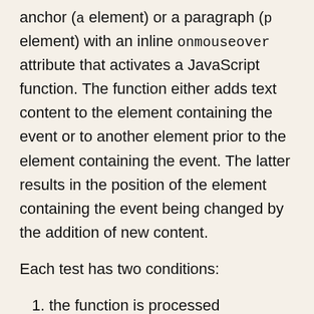anchor (a element) or a paragraph (p element) with an inline onmouseover attribute that activates a JavaScript function. The function either adds text content to the element containing the event or to another element prior to the element containing the event. The latter results in the position of the element containing the event being changed by the addition of new content.
Each test has two conditions:
the function is processed immediately
the function is processed after a delay of 1500 milliseconds.